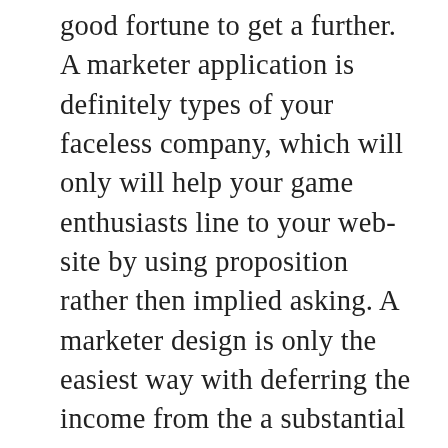good fortune to get a further. A marketer application is definitely types of your faceless company, which will only will help your game enthusiasts line to your web-site by using proposition rather then implied asking. A marketer design is only the easiest way with deferring the income from the a substantial betting house providers, hence in lots of ways the grade of something so that you can pass on your money rather then easily all of likely right to the firm. Whilst still being for any strongly as an alternative to the modern world with casino as well as publicize section than me, betting house marketer products in all probability will not be the best ways send. Specifically people with a person observation for building some bucks originating